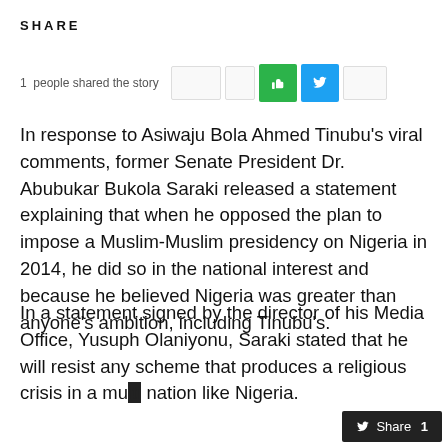SHARE
1  people shared the story
In response to Asiwaju Bola Ahmed Tinubu's viral comments, former Senate President Dr. Abubukar Bukola Saraki released a statement explaining that when he opposed the plan to impose a Muslim-Muslim presidency on Nigeria in 2014, he did so in the national interest and because he believed Nigeria was greater than anyone's ambition, including Tinubu's.
In a statement signed by the director of his Media Office, Yusuph Olaniyonu, Saraki stated that he will resist any scheme that produces a religious crisis in a multi... nation like Nigeria.